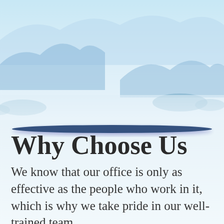[Figure (illustration): Scenic landscape background with layered blue mountains and misty hills fading into a light blue sky, with a dark blue elongated oval/lens shape in the foreground middle area resembling a decorative divider.]
Why Choose Us
We know that our office is only as effective as the people who work in it, which is why we take pride in our well-trained team